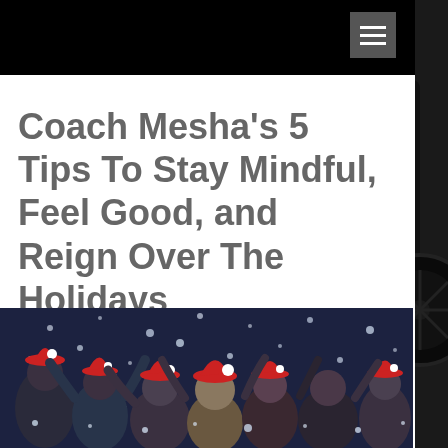Coach Mesha's 5 Tips To Stay Mindful, Feel Good, and Reign Over The Holidays
[Figure (photo): Group of people wearing Santa hats celebrating with confetti and snow, arms raised in excitement at a holiday party]